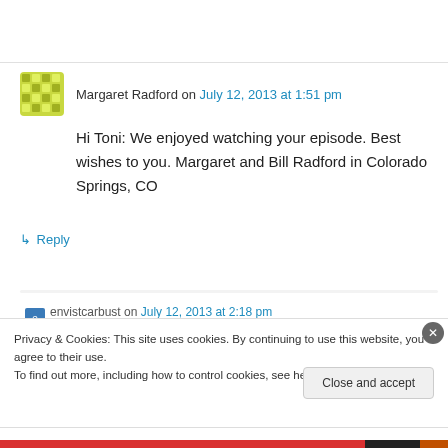Margaret Radford on July 12, 2013 at 1:51 pm
Hi Toni: We enjoyed watching your episode. Best wishes to you. Margaret and Bill Radford in Colorado Springs, CO
↳ Reply
Privacy & Cookies: This site uses cookies. By continuing to use this website, you agree to their use. To find out more, including how to control cookies, see here: Cookie Policy
Close and accept